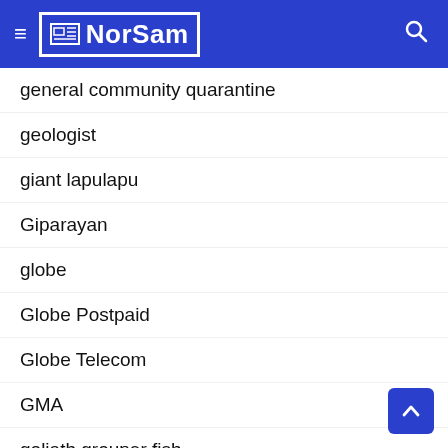NorSam
general community quarantine
geologist
giant lapulapu
Giparayan
globe
Globe Postpaid
Globe Telecom
GMA
goliath grouper fish
Google
Gotham Knights
Governor Edwin Ongchuan